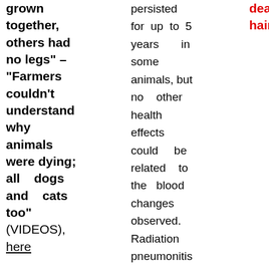grown together, others had no legs" – "Farmers couldn't understand why animals were dying; all dogs and cats too" (VIDEOS), here
persisted for up to 5 years in some animals, but no other health effects could be related to the blood changes observed. Radiation pneumonitis was observed among the dogs with
dead and hairless.